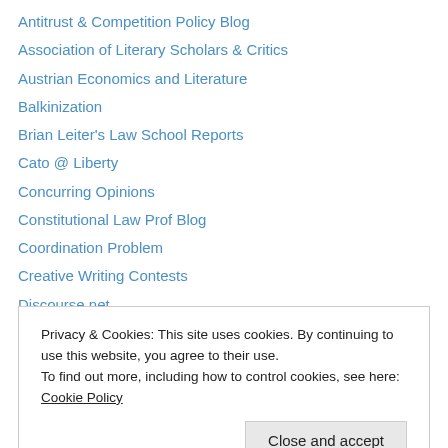Antitrust & Competition Policy Blog
Association of Literary Scholars & Critics
Austrian Economics and Literature
Balkinization
Brian Leiter's Law School Reports
Cato @ Liberty
Concurring Opinions
Constitutional Law Prof Blog
Coordination Problem
Creative Writing Contests
Discourse.net
Economics and Ethics
Election Law Blog
Privacy & Cookies: This site uses cookies. By continuing to use this website, you agree to their use. To find out more, including how to control cookies, see here: Cookie Policy
IntLawGrrls